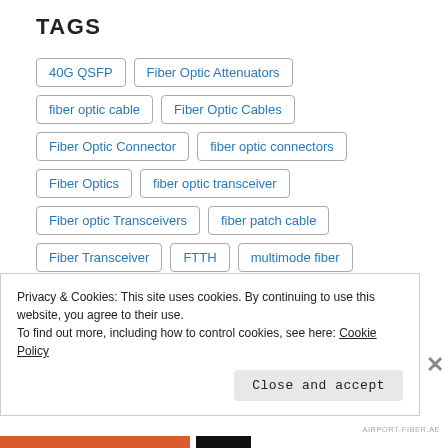TAGS
40G QSFP
Fiber Optic Attenuators
fiber optic cable
Fiber Optic Cables
Fiber Optic Connector
fiber optic connectors
Fiber Optics
fiber optic transceiver
Fiber optic Transceivers
fiber patch cable
Fiber Transceiver
FTTH
multimode fiber
Privacy & Cookies: This site uses cookies. By continuing to use this website, you agree to their use.
To find out more, including how to control cookies, see here: Cookie Policy
Close and accept
AIRPORT-FIBER.AE